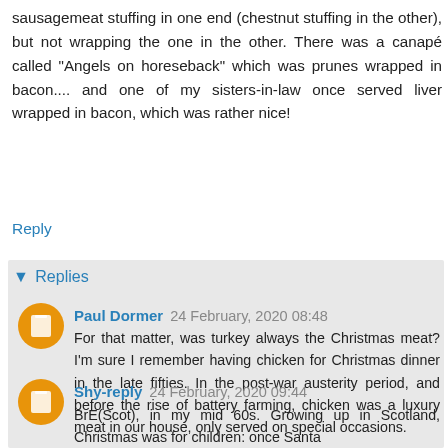sausagemeat stuffing in one end (chestnut stuffing in the other), but not wrapping the one in the other. There was a canapé called "Angels on horeseback" which was prunes wrapped in bacon.... and one of my sisters-in-law once served liver wrapped in bacon, which was rather nice!
Reply
▾ Replies
Paul Dormer 24 February, 2020 08:48
For that matter, was turkey always the Christmas meat? I'm sure I remember having chicken for Christmas dinner in the late fifties. In the post-war austerity period, and before the rise of battery farming, chicken was a luxury meat in our house, only served on special occasions.
Shy-reply 24 February, 2020 09:44
BrE(Scot), in my mid 60s. Growing up in Scotland, Christmas was for children: once Santa